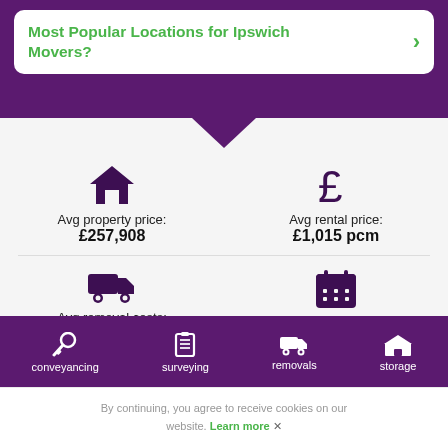Most Popular Locations for Ipswich Movers?
[Figure (infographic): House icon with avg property price £257,908 and pound sign icon with avg rental price £1,015 pcm; truck icon with avg removal costs £505.00 and calendar icon with best time to move: September]
[Figure (infographic): Navigation bar with icons for conveyancing (key icon), surveying (clipboard icon), removals (truck icon), storage (warehouse icon)]
By continuing, you agree to receive cookies on our website. Learn more ✕